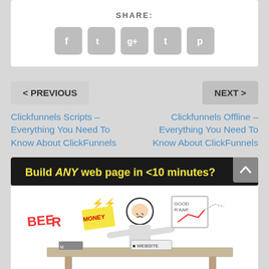SHARE:
[Figure (infographic): Social share buttons: Facebook, Twitter, Google+, Tumblr, Pinterest icons in gray rounded squares]
< PREVIOUS
NEXT >
Clickfunnels Scripts – Everything You Need To Know About ClickFunnels
Clickfunnels Offline – Everything You Need To Know About ClickFunnels
[Figure (illustration): Promotional image: 'Build ANY web page in <10 minutes?' banner with cartoon illustration of a stressed person at a desk with papers labeled BEER, MONEY, WEBSITE, and a chart showing upward trend]